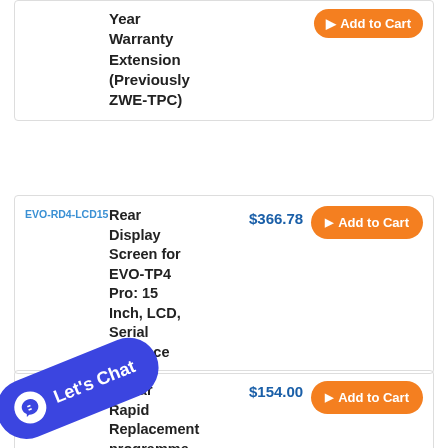| SKU | Product Name | Price | Action |
| --- | --- | --- | --- |
|  | Year Warranty Extension (Previously ZWE-TPC) |  | Add to Cart |
| EVO-RD4-LCD15 | Rear Display Screen for EVO-TP4 Pro: 15 Inch, LCD, Serial Interface | $366.78 | Add to Cart |
| ARTFITT963 | 3-Year Rapid [R]eplacement programme | $154.00 | Add to Cart |